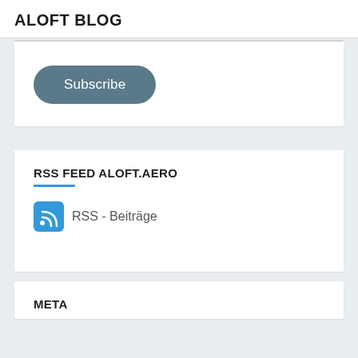ALOFT BLOG
[Figure (illustration): A rounded pill-shaped Subscribe button with dark teal/slate background and white text]
RSS FEED ALOFT.AERO
RSS - Beiträge
META